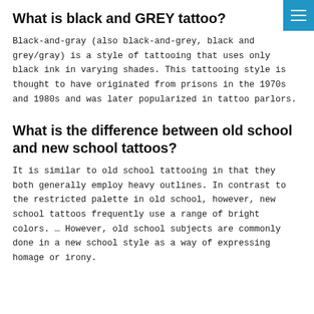What is black and GREY tattoo?
Black-and-gray (also black-and-grey, black and grey/gray) is a style of tattooing that uses only black ink in varying shades. This tattooing style is thought to have originated from prisons in the 1970s and 1980s and was later popularized in tattoo parlors.
What is the difference between old school and new school tattoos?
It is similar to old school tattooing in that they both generally employ heavy outlines. In contrast to the restricted palette in old school, however, new school tattoos frequently use a range of bright colors. … However, old school subjects are commonly done in a new school style as a way of expressing homage or irony.